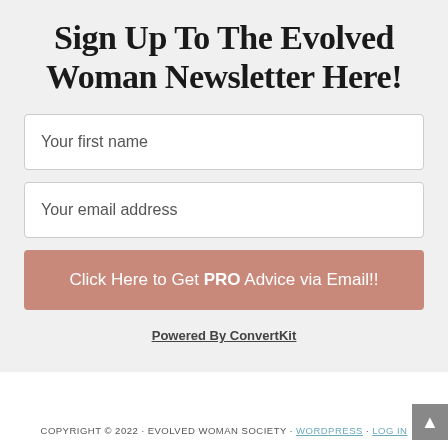Sign Up To The Evolved Woman Newsletter Here!
Your first name
Your email address
Click Here to Get PRO Advice via Email!!
Powered By ConvertKit
COPYRIGHT © 2022 · EVOLVED WOMAN SOCIETY · WORDPRESS · LOG IN